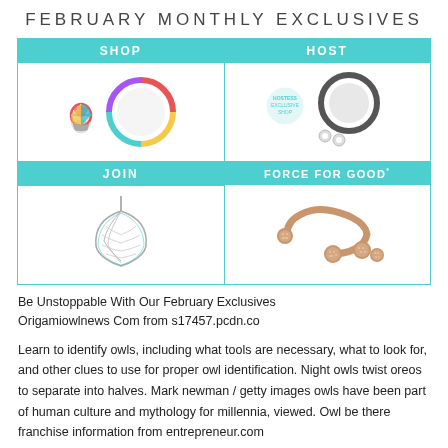FEBRUARY MONTHLY EXCLUSIVES
[Figure (infographic): 2x2 grid showing February Monthly Exclusives: SHOP (colorful ring locket + hot air balloon charm), HOST (dark oxidized ring locket + stud earrings + host exclusive badge), JOIN (angel wing pendant necklace), FORCE FOR GOOD* (rose gold open bangle + rose gold pave ball earrings)]
Be Unstoppable With Our February Exclusives Origamiowlnews Com from s17457.pcdn.co
Learn to identify owls, including what tools are necessary, what to look for, and other clues to use for proper owl identification. Night owls twist oreos to separate into halves. Mark newman / getty images owls have been part of human culture and mythology for millennia, viewed. Owl be there franchise information from entrepreneur.com